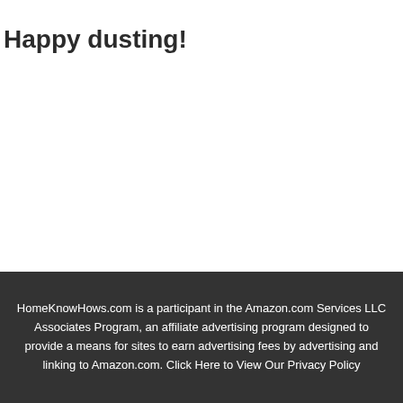Happy dusting!
[Figure (other): Search bar with text input field and blue search button with magnifying glass icon]
HomeKnowHows.com is a participant in the Amazon.com Services LLC Associates Program, an affiliate advertising program designed to provide a means for sites to earn advertising fees by advertising and linking to Amazon.com. Click Here to View Our Privacy Policy